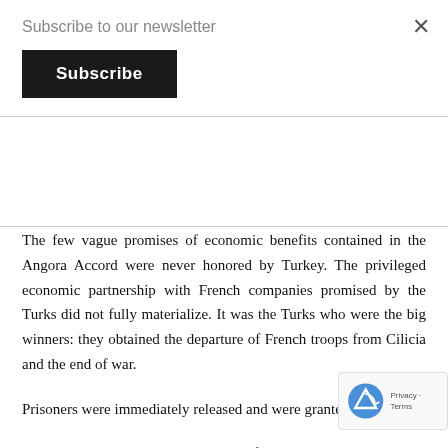Subscribe to our newsletter
Subscribe
The few vague promises of economic benefits contained in the Angora Accord were never honored by Turkey. The privileged economic partnership with French companies promised by the Turks did not fully materialize. It was the Turks who were the big winners: they obtained the departure of French troops from Cilicia and the end of war.
Prisoners were immediately released and were granted amnesty.
France renounced the disarmament of populations and gangs, as well as the constitution of a Turkish police force assisted by French France was also humiliated by the chauvinist and vengeful a the Turks who attacked French interests (schools, hospitals, and French